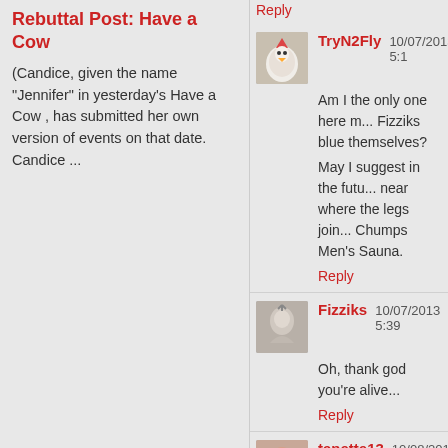Rebuttal Post: Have a Cow
(Candice, given the name "Jennifer" in yesterday's Have a Cow , has submitted her own version of events on that date. Candice ...
Reply
TryN2Fly  10/07/2013 5:1
Am I the only one here m... Fizziks blue themselves?
May I suggest in the futu... near where the legs join... Chumps Men's Sauna.
Reply
Fizziks  10/07/2013 5:39
Oh, thank god you're alive...
Reply
tanette13  10/08/2013 12
Hi, y'all. How's it going? acting, so rehearsals and